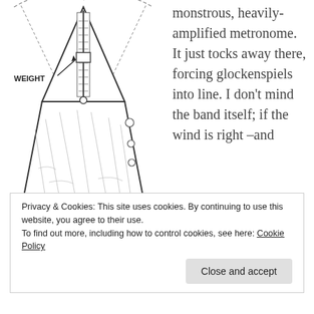[Figure (illustration): A detailed line drawing of a mechanical metronome with a pendulum arm, wood grain casing, and an arrow pointing to a weight labeled 'WEIGHT'. The pendulum swing arc is shown with dashed lines.]
monstrous, heavily-amplified metronome. It just tocks away there, forcing glockenspiels into line. I don't mind the band itself; if the wind is right –and they've been practicing –I can make out what the song is. Apparently Katy Perry's Roar has become a marching band staple. But beneath that all is the metronome drilling along, setting the maddening cadence
Privacy & Cookies: This site uses cookies. By continuing to use this website, you agree to their use.
To find out more, including how to control cookies, see here: Cookie Policy
Close and accept